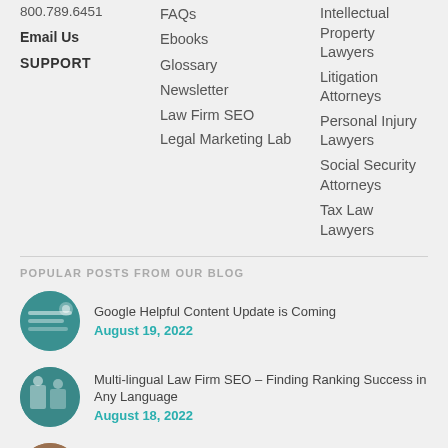800.789.6451
Email Us
SUPPORT
FAQs
Ebooks
Glossary
Newsletter
Law Firm SEO
Legal Marketing Lab
Intellectual Property Lawyers
Litigation Attorneys
Personal Injury Lawyers
Social Security Attorneys
Tax Law Lawyers
POPULAR POSTS FROM OUR BLOG
Google Helpful Content Update is Coming
August 19, 2022
Multi-lingual Law Firm SEO – Finding Ranking Success in Any Language
August 18, 2022
CLM Wins Viddy Award for Sommers Schwartz